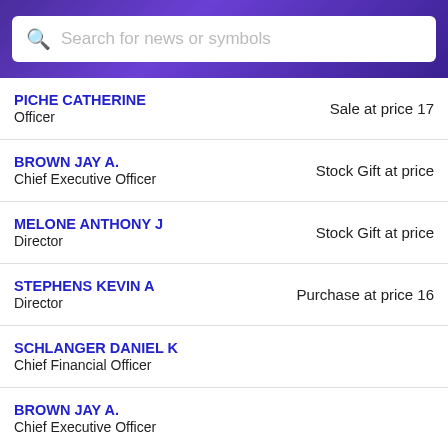Search for news or symbols
PICHE CATHERINE | Officer | Sale at price 17
BROWN JAY A. | Chief Executive Officer | Stock Gift at price
MELONE ANTHONY J | Director | Stock Gift at price
STEPHENS KEVIN A | Director | Purchase at price 16
SCHLANGER DANIEL K | Chief Financial Officer
BROWN JAY A. | Chief Executive Officer
KELLEY PHILIP M | Officer
COLLINS ROBERT SEAN | Officer
SIMON KENNETH JAY | General Counsel